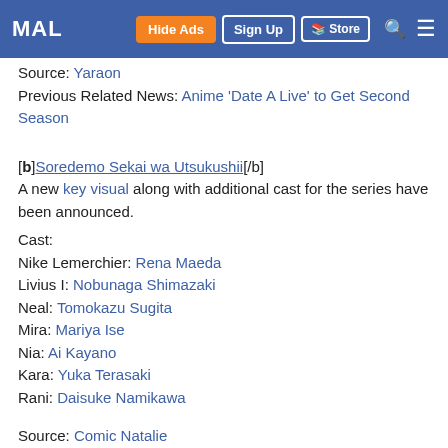MAL | Hide Ads | Sign Up | Store
Source: Yaraon
Previous Related News: Anime 'Date A Live' to Get Second Season
[b]Soredemo Sekai wa Utsukushii[/b]
A new key visual along with additional cast for the series have been announced.
Cast:
Nike Lemerchier: Rena Maeda
Livius I: Nobunaga Shimazaki
Neal: Tomokazu Sugita
Mira: Mariya Ise
Nia: Ai Kayano
Kara: Yuka Terasaki
Rani: Daisuke Namikawa
Source: Comic Natalie
Previous Related News: TV Anime Adaptation of 'Soredemo Sekai wa Utsukushii' To Air Spring 2014